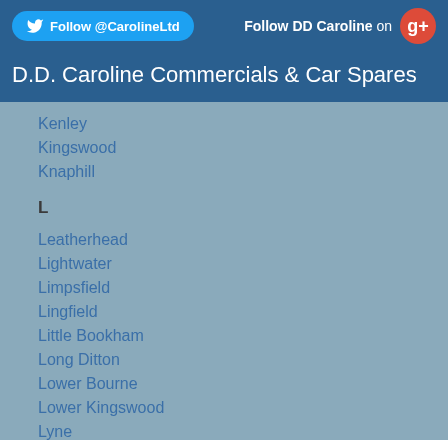Follow @CarolineLtd | Follow DD Caroline on G+
D.D. Caroline Commercials & Car Spares
L
Kenley
Kingswood
Knaphill
L
Leatherhead
Lightwater
Limpsfield
Lingfield
Little Bookham
Long Ditton
Lower Bourne
Lower Kingswood
Lyne
M
Mayford
Merrow